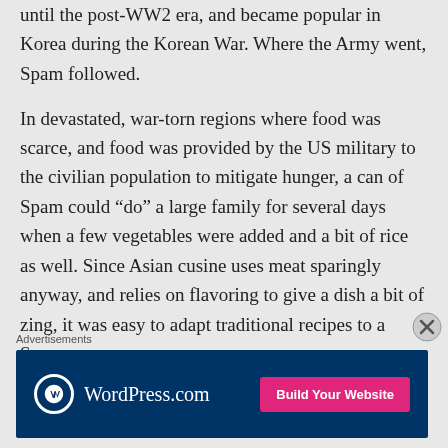until the post-WW2 era, and became popular in Korea during the Korean War. Where the Army went, Spam followed.

In devastated, war-torn regions where food was scarce, and food was provided by the US military to the civilian population to mitigate hunger, a can of Spam could “do” a large family for several days when a few vegetables were added and a bit of rice as well. Since Asian cusine uses meat sparingly anyway, and relies on flavoring to give a dish a bit of zing, it was easy to adapt traditional recipes to a Spam
Advertisements
[Figure (other): WordPress.com advertisement banner with logo and 'Build Your Website' button]